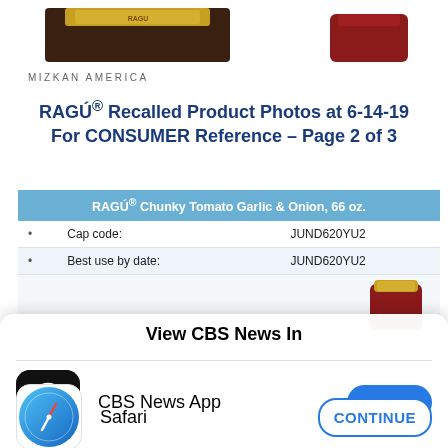[Figure (photo): Partial tops of two product jars/bottles cropped at the top of the page — one with a gold lid and one with a dark red lid]
MIZKAN AMERICA
RAGÚ® Recalled Product Photos at 6-14-19 For CONSUMER Reference – Page 2 of 3
| RAGÚ® Chunky Tomato Garlic & Onion, 66 oz. |
| --- |
| • | Cap code: | JUND620YU2 |
| • | Best use by date: | JUND620YU2 |
[Figure (photo): Partial image of a RAGÚ jar showing yellow/gold cap with dark red sauce contents]
View CBS News In
CBS News App
OPEN
Safari
CONTINUE